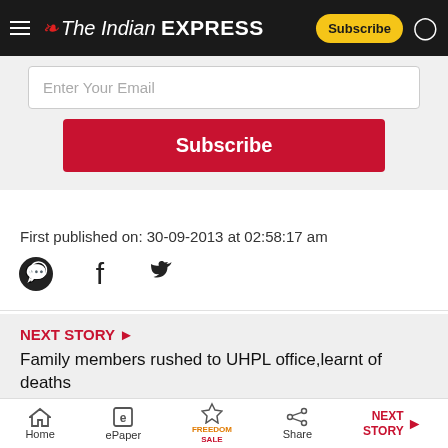The Indian EXPRESS
[Figure (screenshot): Email subscription box with text input field showing 'Enter Your Email' placeholder and a red Subscribe button]
First published on: 30-09-2013 at 02:58:17 am
[Figure (infographic): Social share icons: WhatsApp, Facebook, Twitter]
NEXT STORY ▶
Family members rushed to UHPL office,learnt of deaths
TAGS: Chandigrah Education  Chandigrah News
Home  ePaper  Premium  Share  NEXT STORY